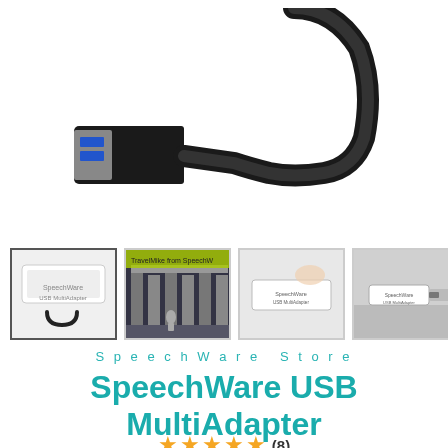[Figure (photo): A black USB adapter with a short flexible cable, showing a USB-A male connector on one end and a rounded connector housing on the other end.]
[Figure (photo): Thumbnail 1: SpeechWare USB MultiAdapter device with small USB cable.]
[Figure (photo): Thumbnail 2: Video thumbnail showing TravelMike from SpeechWare, outdoor museum setting.]
[Figure (photo): Thumbnail 3: Close-up of SpeechWare USB MultiAdapter label on white device.]
[Figure (photo): Thumbnail 4: SpeechWare USB MultiAdapter plugged into a USB port on grey surface.]
SpeechWare Store
SpeechWare USB MultiAdapter
★★★★★ (8)
€159.00